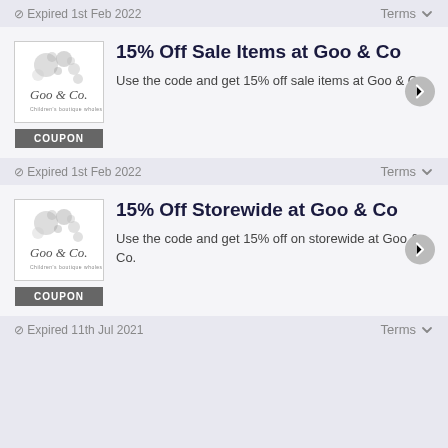⊘ Expired 1st Feb 2022   Terms ∨
15% Off Sale Items at Goo & Co
Use the code and get 15% off sale items at Goo & Co.
⊘ Expired 1st Feb 2022   Terms ∨
15% Off Storewide at Goo & Co
Use the code and get 15% off on storewide at Goo & Co.
⊘ Expired 11th Jul 2021   Terms ∨